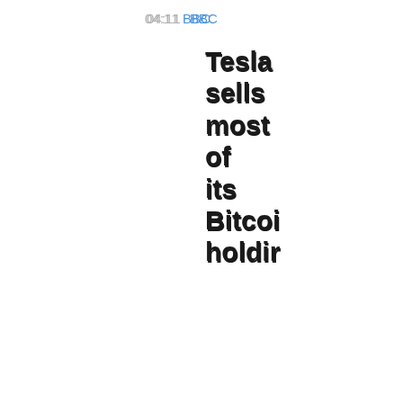04:11
BBC
Tesla sells most of its Bitcoi holdir
02:4
Google news
Health
Tesla sells 75% of its bitcoi as profit